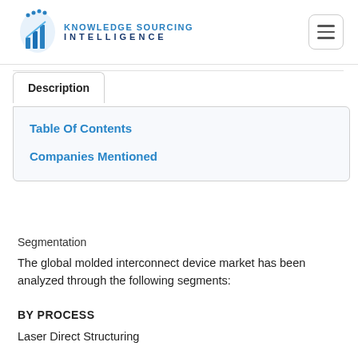[Figure (logo): Knowledge Sourcing Intelligence logo with blue shield/chart icon and text]
Description
Table Of Contents
Companies Mentioned
Segmentation
The global molded interconnect device market has been analyzed through the following segments:
BY PROCESS
Laser Direct Structuring